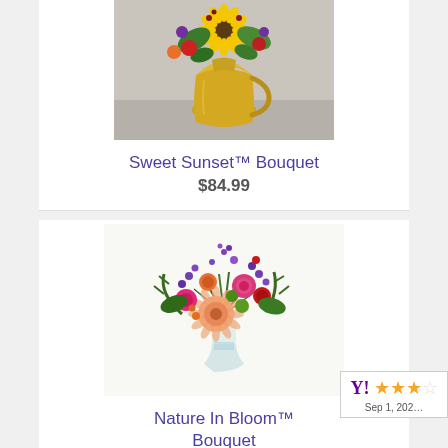[Figure (photo): Photo of Sweet Sunset Bouquet in a gold hammered pitcher vase with sunflowers and mixed colorful flowers]
Sweet Sunset™ Bouquet
$84.99
[Figure (photo): Photo of Nature In Bloom Bouquet with colorful mixed flowers including roses, gerbera daisy, and purple wildflowers in a glass vase]
Nature In Bloom™ Bouquet